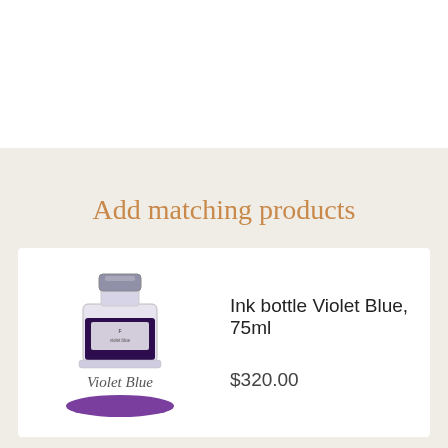Add matching products
[Figure (photo): Ink bottle of Violet Blue 75ml with a violet/blue ink swatch and cursive label 'Violet Blue']
Ink bottle Violet Blue, 75ml
$320.00